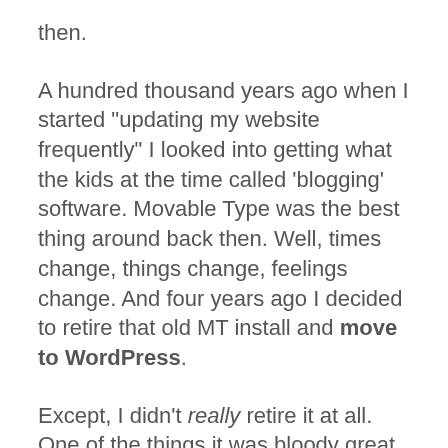then.
A hundred thousand years ago when I started "updating my website frequently" I looked into getting what the kids at the time called 'blogging' software. Movable Type was the best thing around back then. Well, times change, things change, feelings change. And four years ago I decided to retire that old MT install and move to WordPress.
Except, I didn't really retire it at all. One of the things it was bloody great at was powering my Action Stream list. So I was quite happy to let it chug along for as long as possible. Well the long as possible appears to have been last week. My hosting provider upgraded Perl and now that old